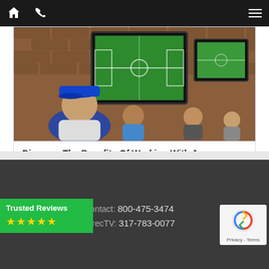Navigation bar with home icon, phone icon, and hamburger menu
[Figure (photo): People watching a soccer/football game on large flat screen TVs mounted on a brick wall in a bar/pub setting. A person in a blue cap is visible in the foreground.]
Discover The Benefits Of Working With An Authorized DirecTV Dealer In Indianapolis
Contact: 800-475-3474
DirecTV: 317-783-0077
[Figure (other): Trusted Reviews badge with green background showing 5 gold stars]
[Figure (other): Google reCAPTCHA badge with Privacy - Terms text]